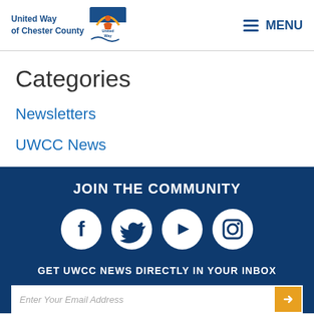United Way of Chester County — United Way logo — MENU
Categories
Newsletters
UWCC News
JOIN THE COMMUNITY
[Figure (infographic): Social media icons: Facebook, Twitter, YouTube, Instagram — white circles on dark blue background]
GET UWCC NEWS DIRECTLY IN YOUR INBOX
Enter Your Email Address